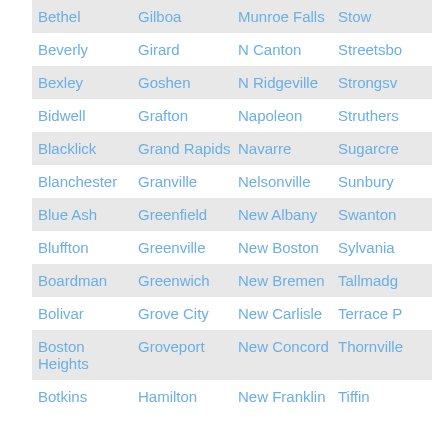| Bethel | Gilboa | Munroe Falls | Stow |
| Beverly | Girard | N Canton | Streetsbo |
| Bexley | Goshen | N Ridgeville | Strongsv |
| Bidwell | Grafton | Napoleon | Struthers |
| Blacklick | Grand Rapids | Navarre | Sugarcre |
| Blanchester | Granville | Nelsonville | Sunbury |
| Blue Ash | Greenfield | New Albany | Swanton |
| Bluffton | Greenville | New Boston | Sylvania |
| Boardman | Greenwich | New Bremen | Tallmadg |
| Bolivar | Grove City | New Carlisle | Terrace P |
| Boston Heights | Groveport | New Concord | Thornville |
| Botkins | Hamilton | New Franklin | Tiffin |